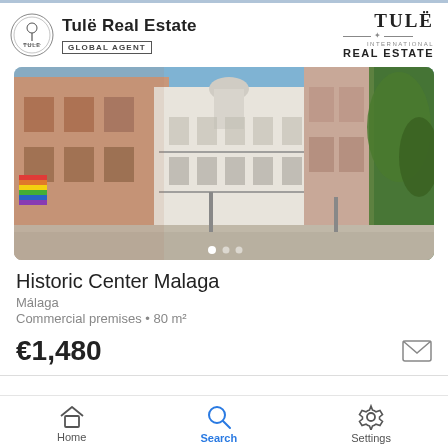Tulë Real Estate — GLOBAL AGENT
[Figure (photo): Street view photo of historic center Málaga showing classical European architecture with multi-story buildings, a pedestrian street, blue sky, and trees on the right side. Carousel navigation dots visible at bottom.]
Historic Center Malaga
Málaga
Commercial premises • 80 m²
€1,480
Home  Search  Settings